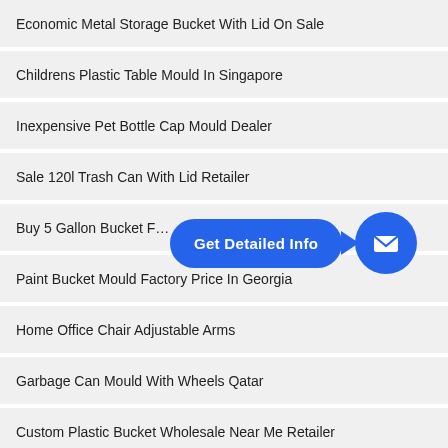Economic Metal Storage Bucket With Lid On Sale
Childrens Plastic Table Mould In Singapore
Inexpensive Pet Bottle Cap Mould Dealer
Sale 120l Trash Can With Lid Retailer
Buy 5 Gallon Bucket F…
Paint Bucket Mould Factory Price In Georgia
Home Office Chair Adjustable Arms
Garbage Can Mould With Wheels Qatar
Custom Plastic Bucket Wholesale Near Me Retailer